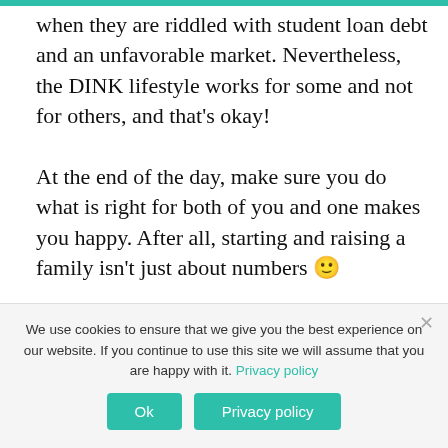when they are riddled with student loan debt and an unfavorable market. Nevertheless, the DINK lifestyle works for some and not for others, and that's okay!

At the end of the day, make sure you do what is right for both of you and one makes you happy. After all, starting and raising a family isn't just about numbers 🙂
We use cookies to ensure that we give you the best experience on our website. If you continue to use this site we will assume that you are happy with it. Privacy policy